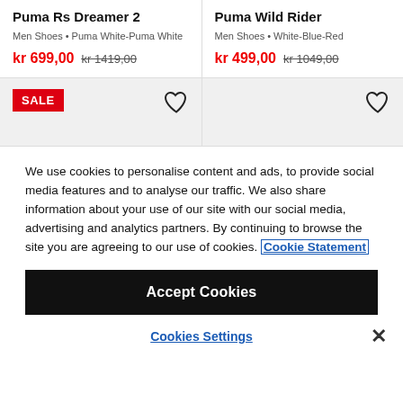Puma Rs Dreamer 2
Men Shoes • Puma White-Puma White
kr 699,00  kr 1419,00
Puma Wild Rider
Men Shoes • White-Blue-Red
kr 499,00  kr 1049,00
[Figure (other): SALE badge and heart icon on grey background for first product]
[Figure (other): Heart icon on grey background for second product]
We use cookies to personalise content and ads, to provide social media features and to analyse our traffic. We also share information about your use of our site with our social media, advertising and analytics partners. By continuing to browse the site you are agreeing to our use of cookies. Cookie Statement
Accept Cookies
Cookies Settings